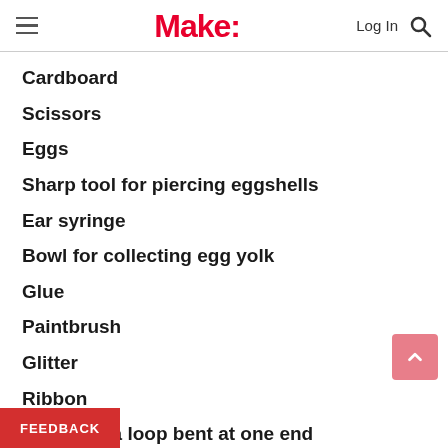Make:
Cardboard
Scissors
Eggs
Sharp tool for piercing eggshells
Ear syringe
Bowl for collecting egg yolk
Glue
Paintbrush
Glitter
Ribbon
Wire with a loop bent at one end
Flower pot